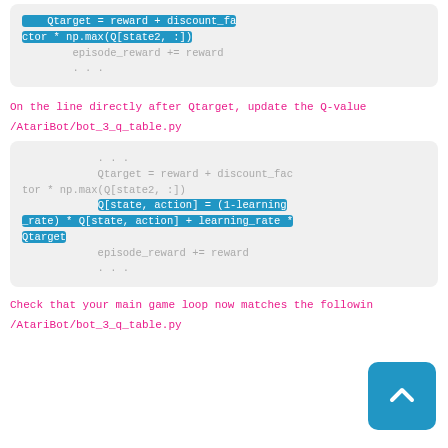[Figure (screenshot): Code block showing Qtarget = reward + discount_factor * np.max(Q[state2, :]) with highlighted selection, episode_reward += reward, and ellipsis]
On the line directly after Qtarget, update the Q-value
/AtariBot/bot_3_q_table.py
[Figure (screenshot): Code block showing ... Qtarget = reward + discount_factor * np.max(Q[state2, :]) with highlighted line Q[state, action] = (1-learning_rate) * Q[state, action] + learning_rate * Qtarget, then episode_reward += reward and ...]
Check that your main game loop now matches the following
/AtariBot/bot_3_q_table.py